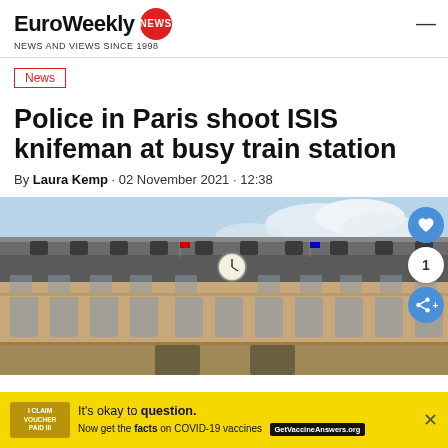EuroWeekly NEWS — NEWS AND VIEWS SINCE 1998
News
Police in Paris shoot ISIS knifeman at busy train station
By Laura Kemp · 02 November 2021 · 12:38
[Figure (photo): Exterior facade of a large historic European train station building with ornate stonework, mansard roof, and a large clock visible on the building. Blue sky with clouds in background.]
It's okay to question. Now get the facts on COVID-19 vaccines GetVaccineAnswers.org